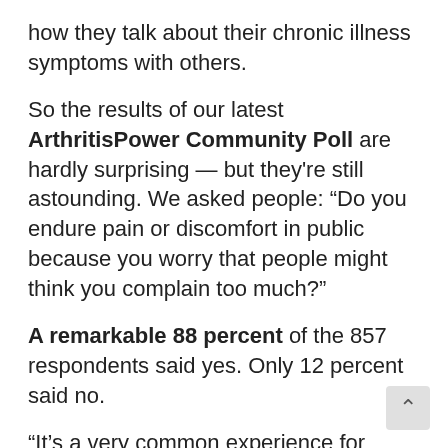how they talk about their chronic illness symptoms with others.
So the results of our latest ArthritisPower Community Poll are hardly surprising — but they're still astounding. We asked people: “Do you endure pain or discomfort in public because you worry that people might think you complain too much?”
A remarkable 88 percent of the 857 respondents said yes. Only 12 percent said no.
“It’s a very common experience for people with chronic pain to fall into this situation with their social support group where they do feel alienated by their